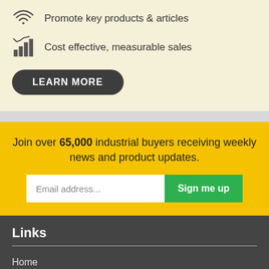Promote key products & articles
Cost effective, measurable sales
LEARN MORE
Join over 65,000 industrial buyers receiving weekly news and product updates.
Email address...
Sign me up
Links
Home
Articles & Ideas
About IndustrySearch